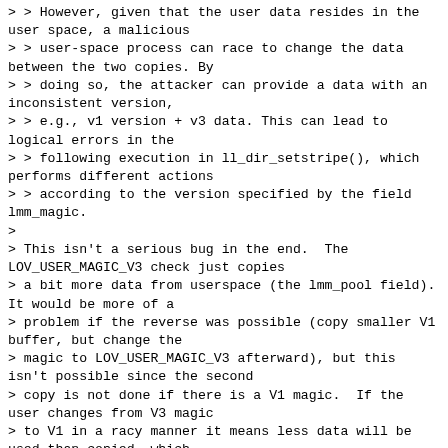> > However, given that the user data resides in the user space, a malicious
> > user-space process can race to change the data between the two copies. By
> > doing so, the attacker can provide a data with an inconsistent version,
> > e.g., v1 version + v3 data. This can lead to logical errors in the
> > following execution in ll_dir_setstripe(), which performs different actions
> > according to the version specified by the field lmm_magic.
>
> This isn't a serious bug in the end.  The LOV_USER_MAGIC_V3 check just copies
> a bit more data from userspace (the lmm_pool field). It would be more of a
> problem if the reverse was possible (copy smaller V1 buffer, but change the
> magic to LOV_USER_MAGIC_V3 afterward), but this isn't possible since the second
> copy is not done if there is a V1 magic.  If the user changes from V3 magic
> to V1 in a racy manner it means less data will be used than copied, which
> is harmless.
>
> > This patch rechecks the version field lmm_magic in the second copy.  If the
> > version is not as expected, i.e..